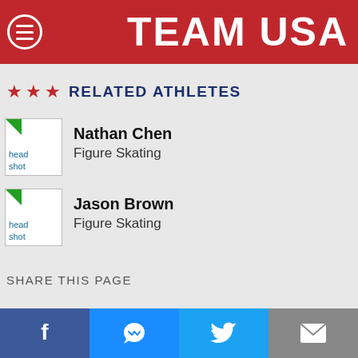TEAM USA
RELATED ATHLETES
Nathan Chen – Figure Skating
Jason Brown – Figure Skating
SHARE THIS PAGE
Facebook | Messenger | Twitter | Email